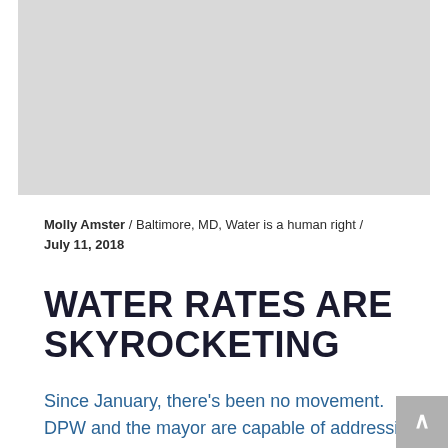[Figure (photo): Light gray image placeholder occupying the top portion of the page]
Molly Amster / Baltimore, MD, Water is a human right / July 11, 2018
WATER RATES ARE SKYROCKETING
Since January, there's been no movement. DPW and the mayor are capable of addressing